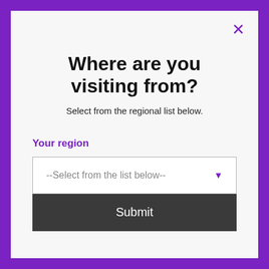Where are you visiting from?
Select from the regional list below.
Your region
[Figure (screenshot): Dropdown select field with placeholder text '--Select from the list below--' and a purple dropdown arrow icon]
[Figure (screenshot): Dark grey Submit button with white text]